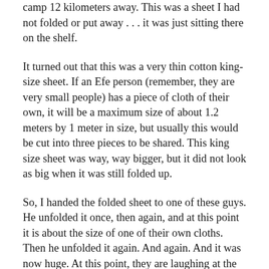camp 12 kilometers away. This was a sheet I had not folded or put away . . . it was just sitting there on the shelf.
It turned out that this was a very thin cotton king-size sheet. If an Efe person (remember, they are very small people) has a piece of cloth of their own, it will be a maximum size of about 1.2 meters by 1 meter in size, but usually this would be cut into three pieces to be shared. This king size sheet was way, way bigger, but it did not look as big when it was still folded up.
So, I handed the folded sheet to one of these guys. He unfolded it once, then again, and at this point it is about the size of one of their own cloths. Then he unfolded it again. And again. And it was now huge. At this point, they are laughing at the absurdity of how large this sheet is. Of course, they totally get the size difference between “us and them” (although we all forgot this difference far more often than we cognized it). They thought of me as absurdly